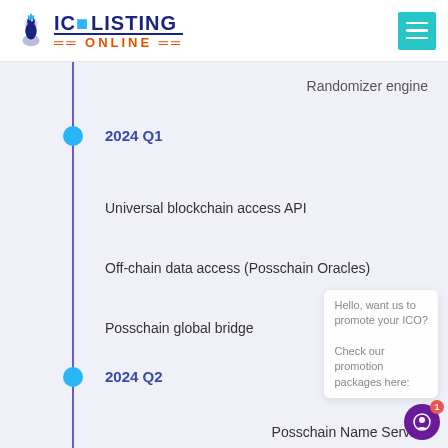[Figure (logo): ICO Listing Online logo with peacock icon]
[Figure (other): Teal hamburger menu button]
Randomizer engine
2024 Q1
Universal blockchain access API
Off-chain data access (Posschain Oracles)
Posschain global bridge
2024 Q2
Posschain Name Service
Hello, want us to promote your ICO? Check our promotion packages here: